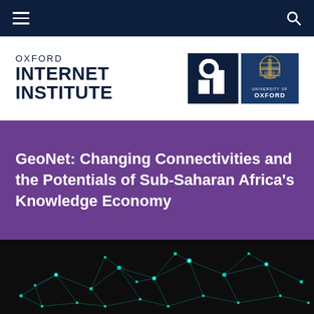Oxford Internet Institute navigation bar
[Figure (logo): Oxford Internet Institute logo with OII mark and University of Oxford crest]
GeoNet: Changing Connectivities and the Potentials of Sub-Saharan Africa's Knowledge Economy
[Figure (illustration): Dark background with a glowing teal network graph representing global connectivity, resembling a world map made of connected nodes and lines]